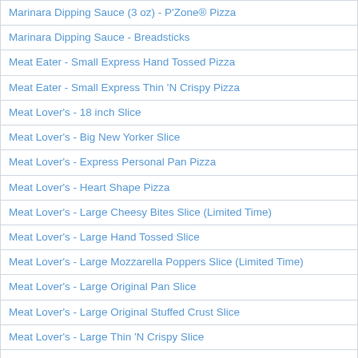| Marinara Dipping Sauce (3 oz) - P'Zone® Pizza |
| Marinara Dipping Sauce - Breadsticks |
| Meat Eater - Small Express Hand Tossed Pizza |
| Meat Eater - Small Express Thin 'N Crispy Pizza |
| Meat Lover's - 18 inch Slice |
| Meat Lover's - Big New Yorker Slice |
| Meat Lover's - Express Personal Pan Pizza |
| Meat Lover's - Heart Shape Pizza |
| Meat Lover's - Large Cheesy Bites Slice (Limited Time) |
| Meat Lover's - Large Hand Tossed Slice |
| Meat Lover's - Large Mozzarella Poppers Slice (Limited Time) |
| Meat Lover's - Large Original Pan Slice |
| Meat Lover's - Large Original Stuffed Crust Slice |
| Meat Lover's - Large Thin 'N Crispy Slice |
| Meat Lover's - Large Ultimate Cheesy Crust Slice (Limited Time) |
| Meat Lover's - Medium Hand Tossed Slice |
| Meat Lover's - Medium Original Pan Slice |